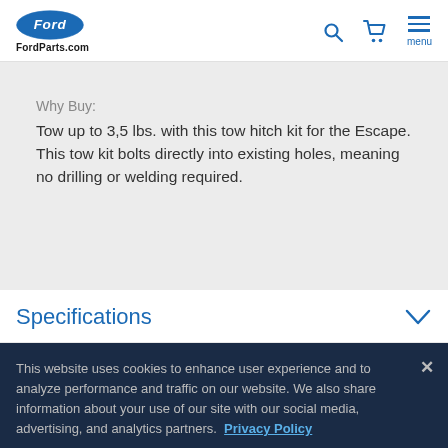FordParts.com
Why Buy:
Tow up to 3,5 lbs. with this tow hitch kit for the Escape. This tow kit bolts directly into existing holes, meaning no drilling or welding required.
Specifications
This website uses cookies to enhance user experience and to analyze performance and traffic on our website. We also share information about your use of our site with our social media, advertising, and analytics partners. Privacy Policy